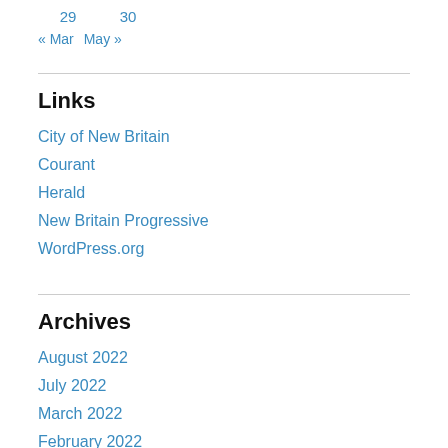29   30
« Mar   May »
Links
City of New Britain
Courant
Herald
New Britain Progressive
WordPress.org
Archives
August 2022
July 2022
March 2022
February 2022
October 2021